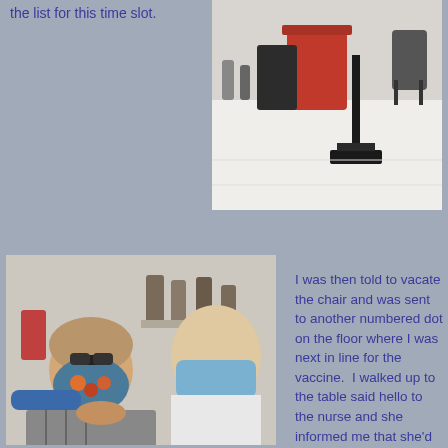the list for this time slot.
[Figure (photo): Indoor vaccination site showing people standing in line, red trash bins, folding tables, and a person seated in a chair on white tile floor.]
[Figure (photo): Close-up of an older woman wearing a floral face mask receiving a vaccine injection from a healthcare worker wearing a blue surgical mask and blue gloves.]
I was then told to vacate the chair and was sent  to another numbered dot on the floor where I was next in line for the vaccine.  I walked up to the table said hello to the nurse and she informed me that she'd just